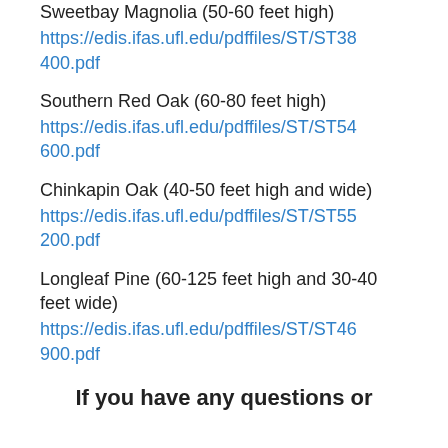Sweetbay Magnolia (50-60 feet high)
https://edis.ifas.ufl.edu/pdffiles/ST/ST38400.pdf
Southern Red Oak (60-80 feet high)
https://edis.ifas.ufl.edu/pdffiles/ST/ST54600.pdf
Chinkapin Oak (40-50 feet high and wide)
https://edis.ifas.ufl.edu/pdffiles/ST/ST55200.pdf
Longleaf Pine (60-125 feet high and 30-40 feet wide)
https://edis.ifas.ufl.edu/pdffiles/ST/ST46900.pdf
If you have any questions or